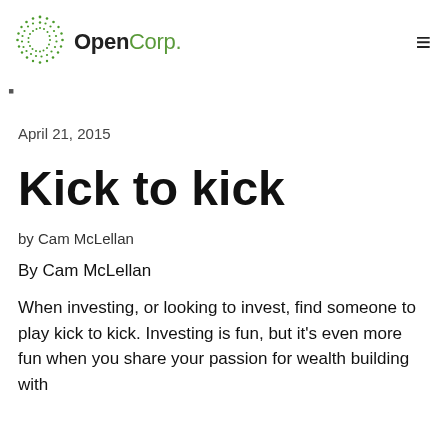OpenCorp.
April 21, 2015
Kick to kick
by Cam McLellan
By Cam McLellan
When investing, or looking to invest, find someone to play kick to kick. Investing is fun, but it's even more fun when you share your passion for wealth building with